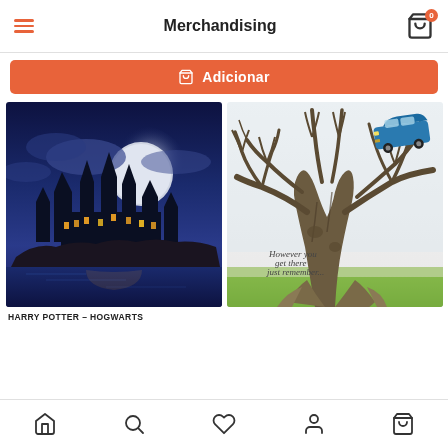Merchandising
Adicionar
[Figure (illustration): Harry Potter Hogwarts castle at night with large moon, blue tones, fantasy illustration]
HARRY POTTER – HOGWARTS
[Figure (illustration): Whomping Willow tree illustration with flying blue Ford Anglia car, however you get there just remember...]
Navigation bar with home, search, favorites, profile, and cart icons